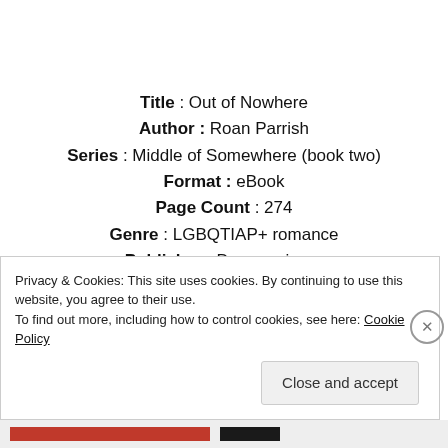Title : Out of Nowhere
Author : Roan Parrish
Series : Middle of Somewhere (book two)
Format : eBook
Page Count : 274
Genre : LGBQTIAP+ romance
Publisher : Dreamspinner
Release Date : February 26, 2016
Privacy & Cookies: This site uses cookies. By continuing to use this website, you agree to their use.
To find out more, including how to control cookies, see here: Cookie Policy
Close and accept